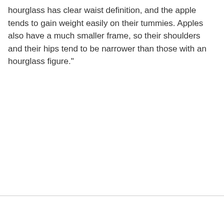hourglass has clear waist definition, and the apple tends to gain weight easily on their tummies. Apples also have a much smaller frame, so their shoulders and their hips tend to be narrower than those with an hourglass figure."